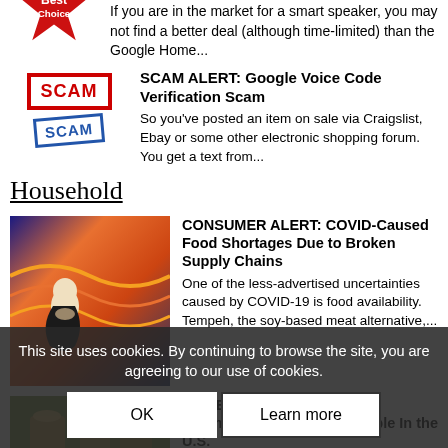[Figure (illustration): Red starburst Best Choice badge partially visible in top left]
If you are in the market for a smart speaker, you may not find a better deal (although time-limited) than the Google Home...
[Figure (illustration): Two SCAM stamps - one red bordered, one blue bordered at an angle]
SCAM ALERT: Google Voice Code Verification Scam
So you've posted an item on sale via Craigslist, Ebay or some other electronic shopping forum.  You get a text from...
Household
[Figure (illustration): The Scream painting parody image]
CONSUMER ALERT: COVID-Caused Food Shortages Due to Broken Supply Chains
One of the less-advertised uncertainties caused by COVID-19 is food availability.  Tempeh, the soy-based meat alternative,...
[Figure (photo): Photo of champagnes on a table]
REVIEW: Best Under $40 Champagnes Readily Available In the U.S.
Let's face facts.  France invented champagne. Since the 1700s, the French have been making some kickass champagne.
[Figure (photo): Dark photo related to tinnitus article]
SCAM: The Neuro-Calm Pro Tinnitus Con Ga...
Scattered throughout the Net are Web-based
This site uses cookies. By continuing to browse the site, you are agreeing to our use of cookies.